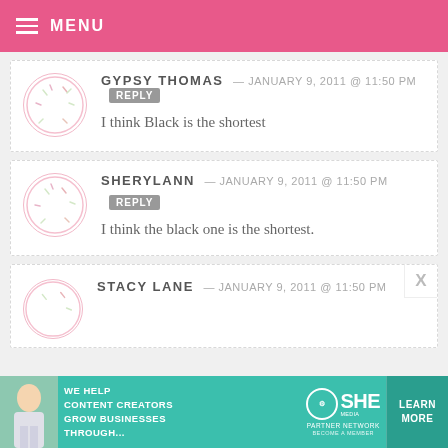MENU
GYPSY THOMAS — JANUARY 9, 2011 @ 11:50 PM REPLY
I think Black is the shortest
SHERYLANN — JANUARY 9, 2011 @ 11:50 PM REPLY
I think the black one is the shortest.
STACY LANE — JANUARY 9, 2011 @ 11:50 PM
[Figure (infographic): SHE Media advertisement banner: WE HELP CONTENT CREATORS GROW BUSINESSES THROUGH... SHE PARTNER NETWORK BECOME A MEMBER. LEARN MORE button.]